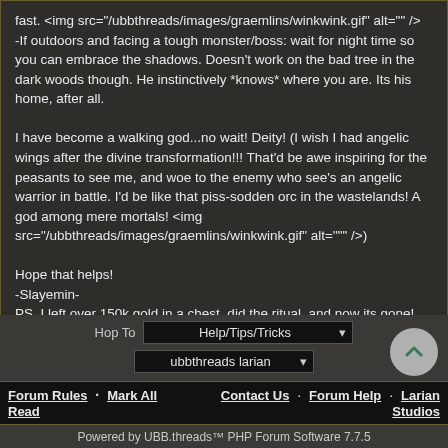fast. <img src="/ubbthreads/images/graemlins/winkwink.gif" alt="" />
-If outdoors and facing a tough monster/boss: wait for night time so you can embrace the shadows. Doesn't work on the bad tree in the dark woods though. He instinctively *knows* where you are. Its his home, after all.

I have become a walking god...no wait! Deity! (I wish I had angelic wings after the divine transformation!!! That'd be awe inspiring for the peasants to see me, and woe to the enemy who see's an angelic warrior in battle. I'd be like that piss-sodden orc in the wastelands! A god among mere mortals! <img src="/ubbthreads/images/graemlins/winkwink.gif" alt=""" />)

Hope that helps!
-Slayemin-
PS. I left over 150k gold in a chest, did the ritual, and now its gone! take your stuff with you, cause otherwise it gets donated to the finders/keepers society.
Hop To   Help/Tips/Tricks
ubbthreads larian
Forum Rules · Mark All Read
Contact Us · Forum Help · Larian Studios
Powered by UBB.threads™ PHP Forum Software 7.7.5